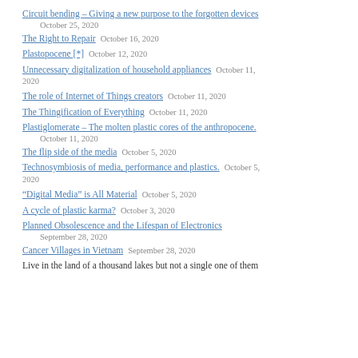Circuit bending – Giving a new purpose to the forgotten devices   October 25, 2020
The Right to Repair   October 16, 2020
Plastopocene [*]   October 12, 2020
Unnecessary digitalization of household appliances   October 11, 2020
The role of Internet of Things creators   October 11, 2020
The Thingification of Everything   October 11, 2020
Plastiglomerate – The molten plastic cores of the anthropocene.   October 11, 2020
The flip side of the media   October 5, 2020
Technosymbiosis of media, performance and plastics.   October 5, 2020
“Digital Media” is All Material   October 5, 2020
A cycle of plastic karma?   October 3, 2020
Planned Obsolescence and the Lifespan of Electronics   September 28, 2020
Cancer Villages in Vietnam   September 28, 2020
Live in the land of a thousand lakes but not a single one of them